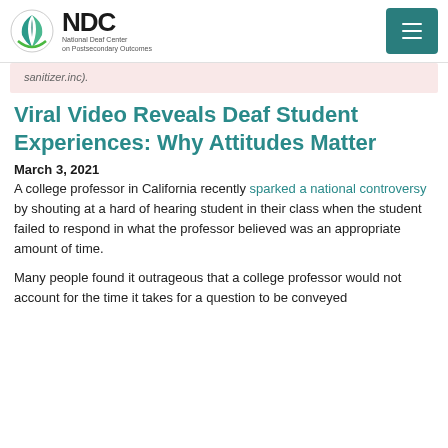NDC — National Deaf Center on Postsecondary Outcomes
sanitizer.inc).
Viral Video Reveals Deaf Student Experiences: Why Attitudes Matter
March 3, 2021
A college professor in California recently sparked a national controversy by shouting at a hard of hearing student in their class when the student failed to respond in what the professor believed was an appropriate amount of time.
Many people found it outrageous that a college professor would not account for the time it takes for a question to be conveyed...